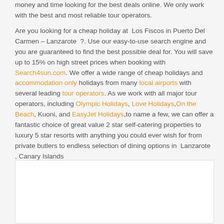money and time looking for the best deals online. We only work with the best and most reliable tour operators.

Are you looking for a cheap holiday at Los Fiscos in Puerto Del Carmen – Lanzarote ?. Use our easy-to-use search engine and you are guaranteed to find the best possible deal for. You will save up to 15% on high street prices when booking with Search4sun.com. We offer a wide range of cheap holidays and accommodation only holidays from many local airports with several leading tour operators. As we work with all major tour operators, including Olympic Holidays, Love Holidays, On the Beach, Kuoni, and EasyJet Holidays, to name a few, we can offer a fantastic choice of great value 2 star self-catering properties to luxury 5 star resorts with anything you could ever wish for from private butlers to endless selection of dining options in Lanzarote , Canary Islands
[Figure (other): White rectangular box with border, likely an image or map placeholder]